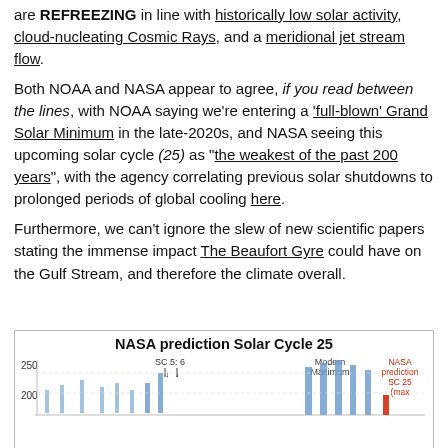are REFREEZING in line with historically low solar activity, cloud-nucleating Cosmic Rays, and a meridional jet stream flow.
Both NOAA and NASA appear to agree, if you read between the lines, with NOAA saying we're entering a 'full-blown' Grand Solar Minimum in the late-2020s, and NASA seeing this upcoming solar cycle (25) as "the weakest of the past 200 years", with the agency correlating previous solar shutdowns to prolonged periods of global cooling here.
Furthermore, we can't ignore the slew of new scientific papers stating the immense impact The Beaufort Gyre could have on the Gulf Stream, and therefore the climate overall.
[Figure (continuous-plot): Partial chart showing NASA prediction for Solar Cycle 25, with y-axis showing values around 200-250, annotations for SC 5:6, Modern Maximum, and NASA prediction SC 25 (max) in red.]